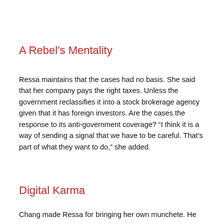A Rebel’s Mentality
Ressa maintains that the cases had no basis. She said that her company pays the right taxes. Unless the government reclassifies it into a stock brokerage agency given that it has foreign investors. Are the cases the response to its anti-government coverage? “I think it is a way of sending a signal that we have to be careful. That’s part of what they want to do,” she added.
Digital Karma
Chang made Ressa for bringing her own munchete. He